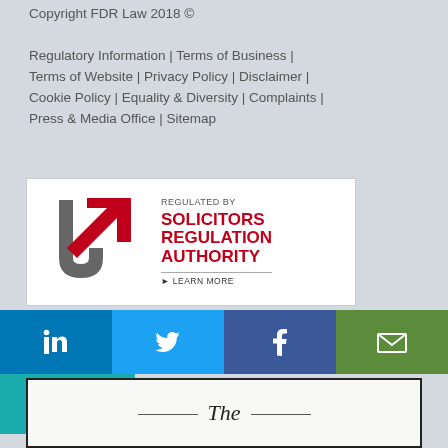Copyright FDR Law 2018 ©
Regulatory Information | Terms of Business | Terms of Website | Privacy Policy | Disclaimer | Cookie Policy | Equality & Diversity | Complaints | Press & Media Office | Sitemap
[Figure (logo): Solicitors Regulation Authority badge — white box with SRA logo (grey U-shape and red arrow) and text 'REGULATED BY SOLICITORS REGULATION AUTHORITY ▶ LEARN MORE']
[Figure (infographic): Social media share bar with LinkedIn (blue), Twitter (light blue), Facebook (dark blue), Email (green) buttons, then a second row with a teal + (more) button]
[Figure (other): Partial certificate image showing 'The' in italic serif with decorative lines]